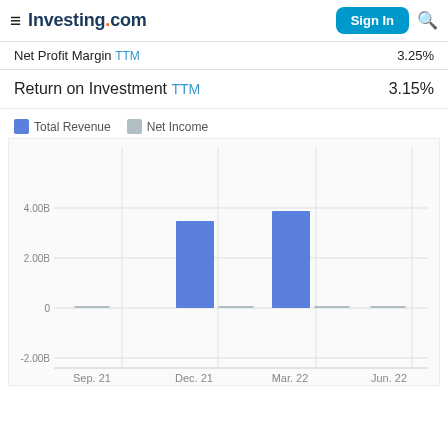Investing.com — Sign In
Net Profit Margin TTM  3.25%
Return on Investment TTM  3.15%
[Figure (grouped-bar-chart): Total Revenue / Net Income]